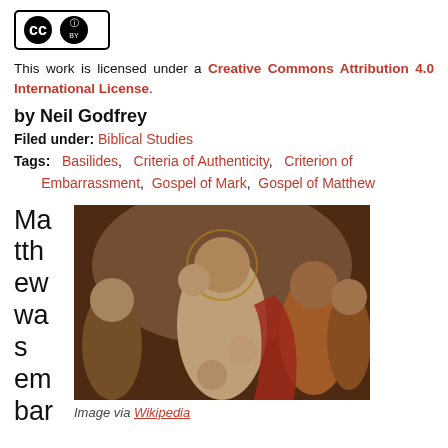[Figure (logo): Creative Commons CC BY logo badge]
This work is licensed under a Creative Commons Attribution 4.0 International License.
by Neil Godfrey
Filed under: Biblical Studies
Tags: Basilides, Criteria of Authenticity, Criterion of Embarrassment, Gospel of Mark, Gospel of Matthew
[Figure (photo): Classical painting of Madonna and child surrounded by figures, by Rubens style]
Image via Wikipedia
Matthew was embarrassed by Ma